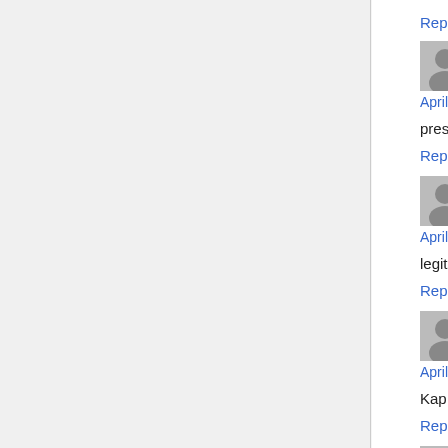Reply
Jyhmikeabilm says:
April 24, 2022 at 12:56 pm
prescription drugs name walmart online pharma
Reply
WnnhBOYMN says:
April 25, 2022 at 12:43 pm
legitimate online pharmacy usa pharmacy tech c
Reply
anabolik steroid satın al says:
April 26, 2022 at 7:49 am
Kapıda ödeme steroid satın al işlemi için birçok
Reply
oodxudwr says: